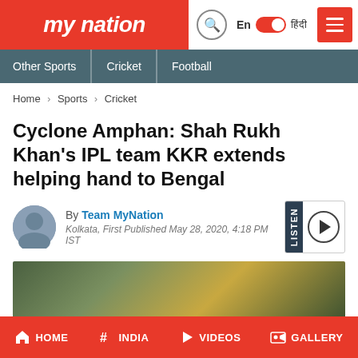my nation
Other Sports | Cricket | Football
Home > Sports > Cricket
Cyclone Amphan: Shah Rukh Khan's IPL team KKR extends helping hand to Bengal
By Team MyNation
Kolkata, First Published May 28, 2020, 4:18 PM IST
[Figure (photo): Blurred outdoor photo, green and yellow tones, related to Bengal/cyclone article]
HOME  #INDIA  VIDEOS  GALLERY